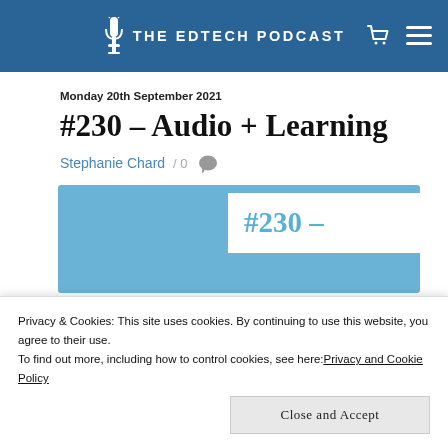THE EDTECH PODCAST
Monday 20th September 2021
#230 – Audio + Learning
Stephanie Chard / 0
[Figure (other): Partial thumbnail image showing #230 – text in blue on white box over light blue background]
Privacy & Cookies: This site uses cookies. By continuing to use this website, you agree to their use.
To find out more, including how to control cookies, see here: Privacy and Cookie Policy
Close and Accept